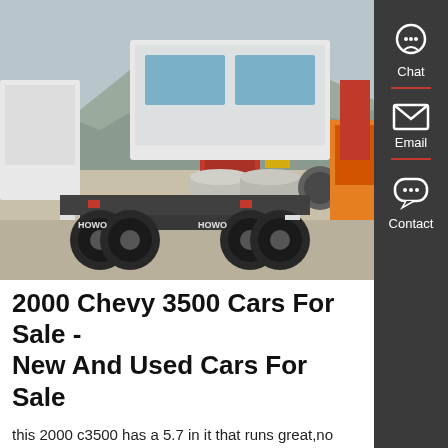[Figure (photo): Rear view of two HOWO brand semi-truck tractors parked on a lot with mountains in the background. Multiple trucks visible including white, red and orange vehicles.]
2000 Chevy 3500 Cars For Sale - New And Used Cars For Sale
this 2000 c3500 has a 5.7 in it that runs great,no leaks,strong runner, has monroe dump body with power up and gravity down hoist,roll tarp,extra set of low wood sides and gate,truck was used to haul wood chips,has cruise,and ac,these trucks are far and few